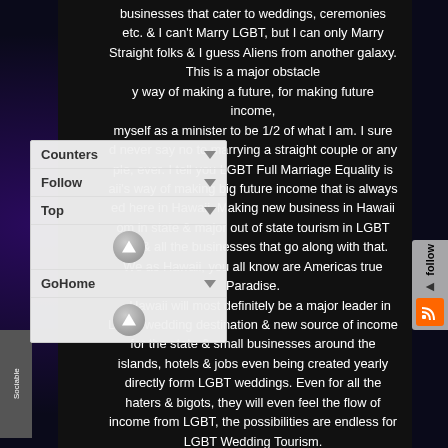businesses that cater to weddings, ceremonies etc. & I can't Marry LGBT, but I can only Marry Straight folks & I guess Aliens from another galaxy. This is a major obstacle y way of making a future, for making future income, myself as a minister to be 1/2 of what I am. I sure d never say no to marrying a straight couple or any ple, ever. I tell you LGBT Full Marriage Equality is aii's way of making big future income that is always ed here in Hawaii. Making new business in Hawaii om in state & major out of state tourism in LGBT ngs & all the businesses that go along with that. We as Hawaii, you all know are Americas true Paradise. Hawaii will most definitely be a major leader in LGBT wedding destination & new source of income for the state & small businesses around the islands, hotels & jobs even being created yearly directly form LGBT weddings. Even for all the haters & bigots, they will even feel the flow of income from LGBT, the possibilities are endless for LGBT Wedding Tourism.

You all as leaders know it is your jobs to protect people from discrimination & to protect the administration from